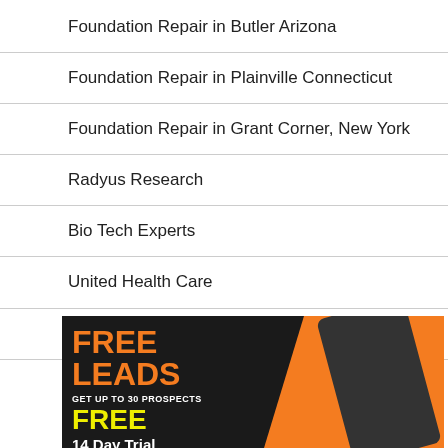Foundation Repair in Butler Arizona
Foundation Repair in Plainville Connecticut
Foundation Repair in Grant Corner, New York
Radyus Research
Bio Tech Experts
United Health Care
Golden Goose Authority
[Figure (infographic): Advertisement banner: FREE LEADS - GET UP TO 30 PROSPECTS FREE - 14 Day Trial - NO CREDIT CARD REQUIRED, with orange and dark background and phone image]